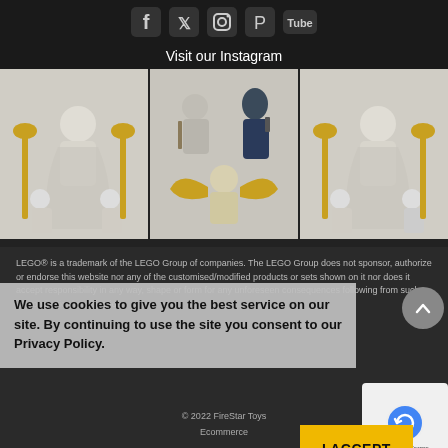[Figure (infographic): Social media icons: Facebook, Twitter, Instagram, Pinterest, YouTube on dark background]
Visit our Instagram
[Figure (photo): Three Instagram grid photos showing LEGO minifigures (Moon Knight themed) with golden accessories]
LEGO® is a trademark of the LEGO Group of companies. The LEGO Group does not sponsor, authorize or endorse this website nor any of the customised/modified products or sets shown on it nor does it accept responsibility in any way, shape or form for any unforeseen consequences following from such customisation/modification
We use cookies to give you the best service on our site. By continuing to use the site you consent to our Privacy Policy.
© 2022 FireStar Toys
Ecommerce